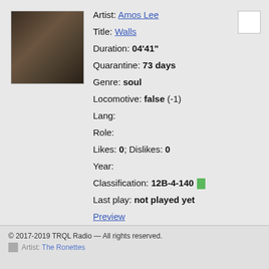[Figure (photo): Album art thumbnail for Amos Lee - Walls, dark toned photograph]
Artist: Amos Lee
Title: Walls
Duration: 04'41"
Quarantine: 73 days
Genre: soul
Locomotive: false (-1)
Lang:
Role:
Likes: 0; Dislikes: 0
Year:
Classification: 12B-4-140
Last play: not played yet
Preview
© 2017-2019 TRQL Radio — All rights reserved. Artist: The Ronettes